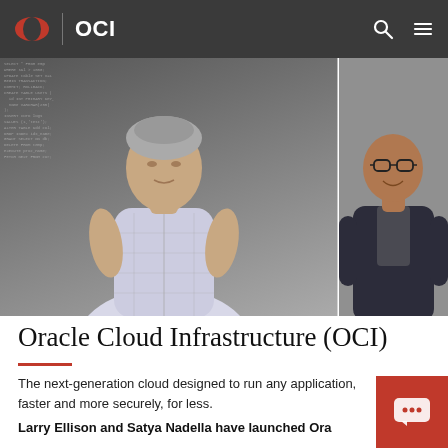OCI
[Figure (photo): Two men standing side by side: Larry Ellison (left) in a plaid shirt against a dark textured background with code watermark, and Satya Nadella (right) in glasses and dark blazer against a grey background.]
Oracle Cloud Infrastructure (OCI)
The next-generation cloud designed to run any application, faster and more securely, for less.
Larry Ellison and Satya Nadella have launched Ora... Database Service for Microsoft Azure, joining th...